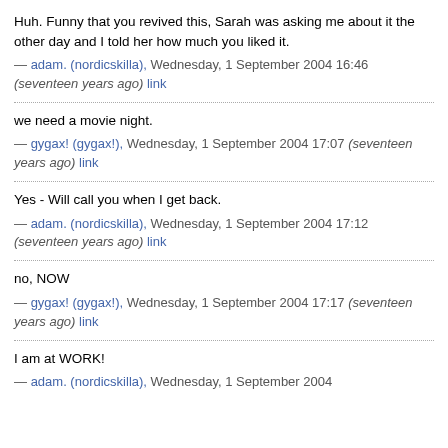Huh. Funny that you revived this, Sarah was asking me about it the other day and I told her how much you liked it.
— adam. (nordicskilla), Wednesday, 1 September 2004 16:46 (seventeen years ago) link
we need a movie night.
— gygax! (gygax!), Wednesday, 1 September 2004 17:07 (seventeen years ago) link
Yes - Will call you when I get back.
— adam. (nordicskilla), Wednesday, 1 September 2004 17:12 (seventeen years ago) link
no, NOW
— gygax! (gygax!), Wednesday, 1 September 2004 17:17 (seventeen years ago) link
I am at WORK!
— adam. (nordicskilla), Wednesday, 1 September 2004